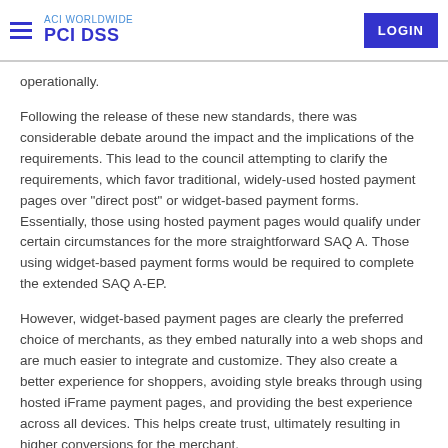ACI WORLDWIDE PCI DSS | LOGIN
operationally.
Following the release of these new standards, there was considerable debate around the impact and the implications of the requirements. This lead to the council attempting to clarify the requirements, which favor traditional, widely-used hosted payment pages over "direct post" or widget-based payment forms. Essentially, those using hosted payment pages would qualify under certain circumstances for the more straightforward SAQ A. Those using widget-based payment forms would be required to complete the extended SAQ A-EP.
However, widget-based payment pages are clearly the preferred choice of merchants, as they embed naturally into a web shops and are much easier to integrate and customize. They also create a better experience for shoppers, avoiding style breaks through using hosted iFrame payment pages, and providing the best experience across all devices. This helps create trust, ultimately resulting in higher conversions for the merchant.
Impact of new requirements